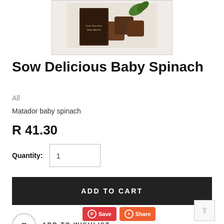[Figure (photo): Product image of Sow Delicious Baby Spinach seed kit packaging showing dark brown grow cubes and green spinach leaves]
Sow Delicious Baby Spinach
All
Matador baby spinach
R 41.30
Quantity: 1
ADD TO CART
ADD TO WISHLIST
Save
Share